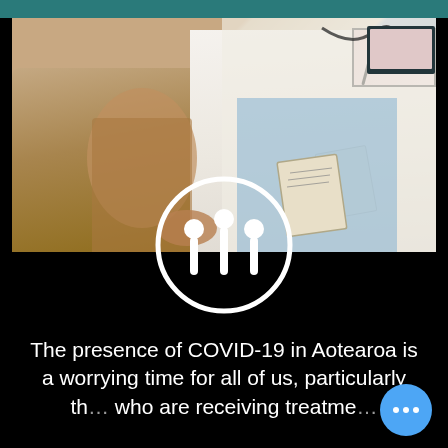[Figure (photo): A doctor in a white coat holding a clipboard or document, sitting with a patient in a medical consultation setting. A monitor is visible in the background.]
[Figure (logo): Circular white logo on dark background showing three vertical bars each topped with a circle, resembling a stylized figure or sound wave icon]
The presence of COVID-19 in Aotearoa is a worrying time for all of us, particularly th... who are receiving treatme... for cancer the land T...